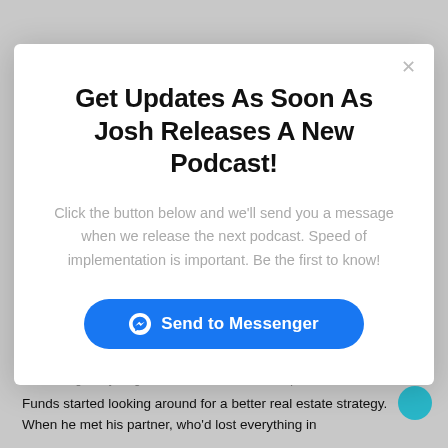Get Updates As Soon As Josh Releases A New Podcast!
Click the button below and we’ll send you a message when we release the next podcast. Speed of implementation is important. Be the first to know!
[Figure (other): Blue 'Send to Messenger' button with Messenger icon]
After losing everything in 2008, Bob Frazier from Apex Funds started looking around for a better real estate strategy. When he met his partner, who’d lost everything in